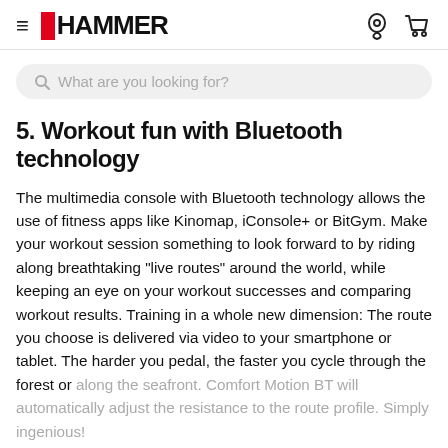≡ HAMMER
5. Workout fun with Bluetooth technology
The multimedia console with Bluetooth technology allows the use of fitness apps like Kinomap, iConsole+ or BitGym. Make your workout session something to look forward to by riding along breathtaking "live routes" around the world, while keeping an eye on your workout successes and comparing workout results. Training in a whole new dimension: The route you choose is delivered via video to your smartphone or tablet. The harder you pedal, the faster you cycle through the forest or along the seafront. Comfort Motion BT will automatically adjust the resistance to the route profile. Simply ingenious!